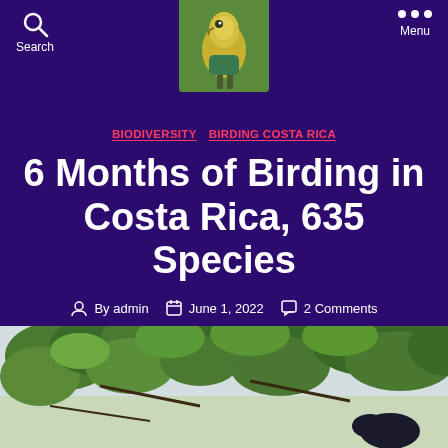Search  [bird photo]  Menu
BIODIVERSITY  BIRDING COSTA RICA
6 Months of Birding in Costa Rica, 635 Species
By admin  June 1, 2022  2 Comments
[Figure (photo): Photograph of green tropical foliage/tree canopy against a light sky, with a dark bird partially visible at bottom right]